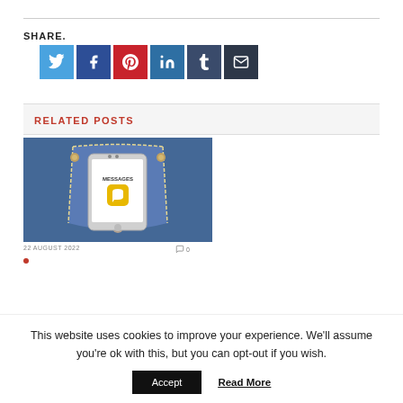SHARE.
[Figure (other): Social share buttons: Twitter (blue), Facebook (dark blue), Pinterest (red), LinkedIn (blue), Tumblr (dark navy), Email (dark gray)]
RELATED POSTS
[Figure (photo): Smartphone showing Messages app in a denim jeans pocket]
22 AUGUST 2022
0
This website uses cookies to improve your experience. We'll assume you're ok with this, but you can opt-out if you wish.
Accept
Read More